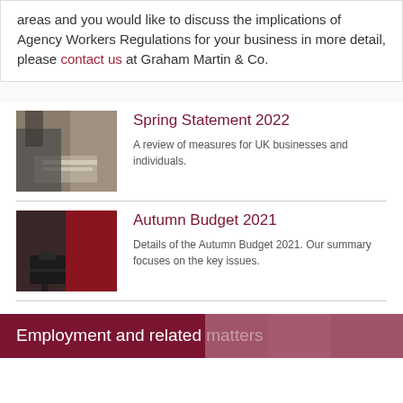areas and you would like to discuss the implications of Agency Workers Regulations for your business in more detail, please contact us at Graham Martin & Co.
Spring Statement 2022
[Figure (photo): Person in suit signing or reviewing documents on desk]
A review of measures for UK businesses and individuals.
Autumn Budget 2021
[Figure (photo): Person in suit carrying a briefcase against a red background]
Details of the Autumn Budget 2021. Our summary focuses on the key issues.
Employment and related matters